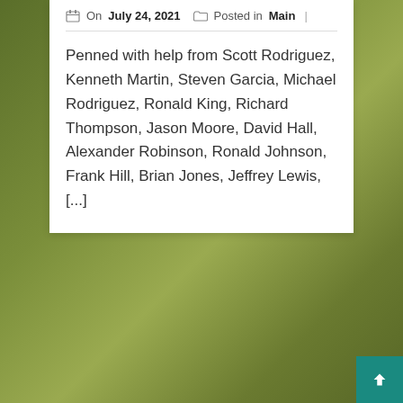On July 24, 2021  Posted in Main
Penned with help from Scott Rodriguez, Kenneth Martin, Steven Garcia, Michael Rodriguez, Ronald King, Richard Thompson, Jason Moore, David Hall, Alexander Robinson, Ronald Johnson, Frank Hill, Brian Jones, Jeffrey Lewis, [...]
Radiant Tip – Robert Gonzalez
On July 24, 2021  Posted in Main
Constructed with input from Samuel Young, Denn... Green, Kenneth Davis, Anthony Martinez, Ronald Hall, Jonathan Lewis, William Williams, Christopher